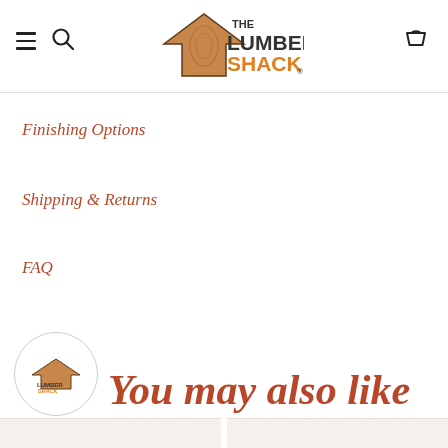The Lumber Shack logo with hamburger menu, search icon, and cart icon
Finishing Options
Shipping & Returns
FAQ
You may also like